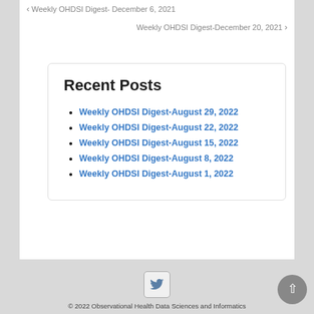‹ Weekly OHDSI Digest- December 6, 2021
Weekly OHDSI Digest-December 20, 2021 ›
Recent Posts
Weekly OHDSI Digest-August 29, 2022
Weekly OHDSI Digest-August 22, 2022
Weekly OHDSI Digest-August 15, 2022
Weekly OHDSI Digest-August 8, 2022
Weekly OHDSI Digest-August 1, 2022
© 2022 Observational Health Data Sciences and Informatics